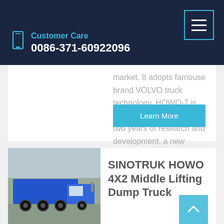Customer Care
0086-371-60922096
market. It adopts famouse brand VOLVO truck technology. HOWO-7 is SINOTRUK Group after two years of research and development, a new generation of heavy truck series using the 130 items of the latest ...
Learn More
[Figure (photo): Blue SINOTRUK HOWO dump truck parked outdoors]
SINOTRUK HOWO 4X2 Middle Lifting Dump Truck